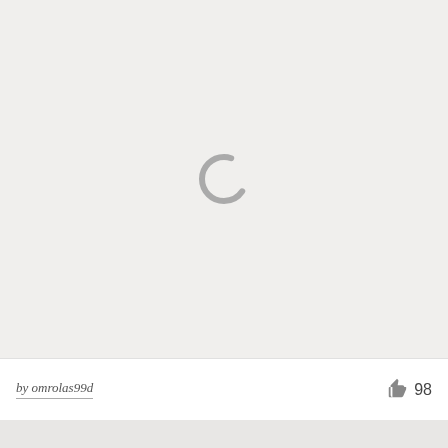[Figure (illustration): Loading spinner icon — a gray arc/partial circle indicating content is loading, centered in a light gray area]
by omrolas99d
[Figure (illustration): Thumbs up / like icon in gray]
98